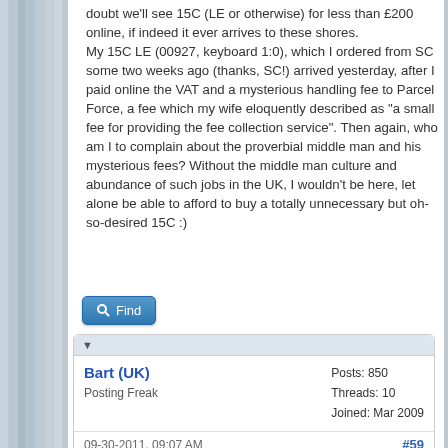doubt we'll see 15C (LE or otherwise) for less than £200 online, if indeed it ever arrives to these shores.
My 15C LE (00927, keyboard 1:0), which I ordered from SC some two weeks ago (thanks, SC!) arrived yesterday, after I paid online the VAT and a mysterious handling fee to Parcel Force, a fee which my wife eloquently described as "a small fee for providing the fee collection service". Then again, who am I to complain about the proverbial middle man and his mysterious fees? Without the middle man culture and abundance of such jobs in the UK, I wouldn't be here, let alone be able to afford to buy a totally unnecessary but oh-so-desired 15C :)
Find
Bart (UK)
Posting Freak
Posts: 850
Threads: 10
Joined: Mar 2009
09-30-2011, 09:07 AM
#59